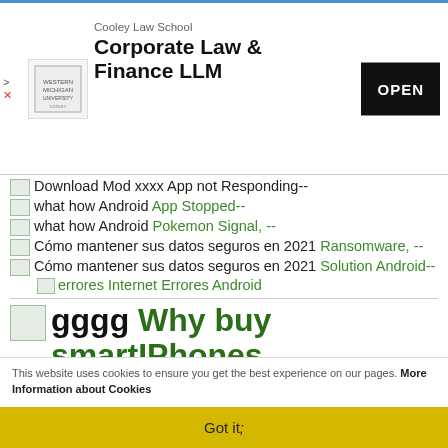[Figure (other): Advertisement banner for Cooley Law School Corporate Law & Finance LLM with logo and OPEN button]
Download Mod xxxx App not Responding--
what how Android App Stopped--
what how Android Pokemon Signal, --
Cómo mantener sus datos seguros en 2021 Ransomware, --
Cómo mantener sus datos seguros en 2021 Solution Android-- errores Internet Errores Android
gggg Why buy smartIPhones
This website uses cookies to ensure you get the best experience on our pages. More Information about Cookies
Got it;